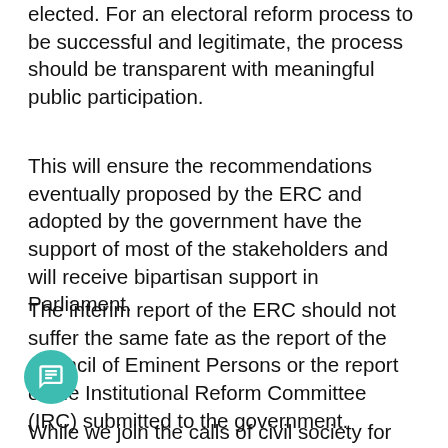elected. For an electoral reform process to be successful and legitimate, the process should be transparent with meaningful public participation.
This will ensure the recommendations eventually proposed by the ERC and adopted by the government have the support of most of the stakeholders and will receive bipartisan support in Parliament.
The interim report of the ERC should not suffer the same fate as the report of the Council of Eminent Persons or the report of the Institutional Reform Committee (IRC) submitted to the government.
While we join the calls of civil society for these